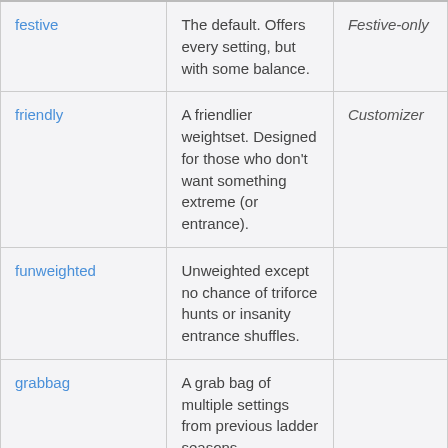| festive | The default. Offers every setting, but with some balance. | Festive-only |
| friendly | A friendlier weightset. Designed for those who don't want something extreme (or entrance). | Customizer |
| funweighted | Unweighted except no chance of triforce hunts or insanity entrance shuffles. |  |
| grabbag | A grab bag of multiple settings from previous ladder seasons |  |
| hmg | This'll always be HMG. Always. | Customizer |